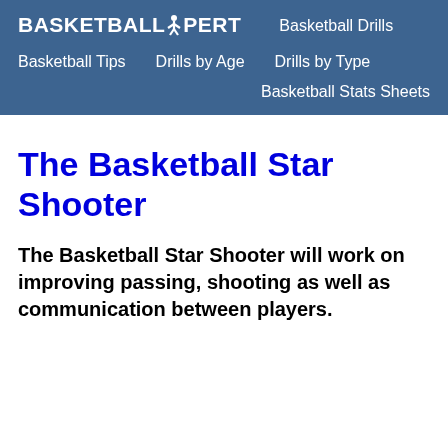BASKETBALLXPERT  Basketball Drills  Basketball Tips  Drills by Age  Drills by Type  Basketball Stats Sheets
The Basketball Star Shooter
The Basketball Star Shooter will work on improving passing, shooting as well as communication between players.